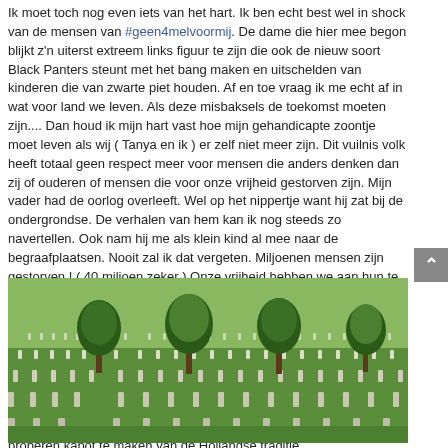Ik moet toch nog even iets van het hart. Ik ben echt best wel in shock van de mensen van #geen4melvoormij. De dame die hier mee begon blijkt z'n uiterst extreem links figuur te zijn die ook de nieuw soort Black Panters steunt met het bang maken en uitschelden van kinderen die van zwarte piet houden. Af en toe vraag ik me echt af in wat voor land we leven. Als deze misbaksels de toekomst moeten zijn.... Dan houd ik mijn hart vast hoe mijn gehandicapte zoontje moet leven als wij ( Tanya en ik ) er zelf niet meer zijn. Dit vuilnis volk heeft totaal geen respect meer voor mensen die anders denken dan zij of ouderen of mensen die voor onze vrijheid gestorven zijn. Mijn vader had de oorlog overleeft. Wel op het nippertje want hij zat bij de ondergrondse. De verhalen van hem kan ik nog steeds zo navertellen. Ook nam hij me als klein kind al mee naar de begraafplaatsen. Nooit zal ik dat vergeten. Miljoenen mensen zijn gestorven ! ( 40 miljoen zeker ) Onze vrijheid hebben we aan hun te danken. 4 mei ben ik 2 minuten stil. Morgen zal ik terug denken aan de indrukwekkende verhalen van mijn vader die jammer genoeg in 2005 gestorven is. Hoop dat alle mensen in Nederland nu kunnen inzien hoe verschrikkelijk die zwarte piet haters zijn. Het gaat hun alleen maar om het haatzaaien. Ze zijn zelf de grootste fascisten en racisten maar roepen het omgekeerde. Precies zoals W Churchill ons voor heeft gewaarschuwd net na de oorlog. Ik denk dat ze mede door dit aardig ontmaskerd zijn. Toch vraag ik me af wat ze nu weer proberen kapot te maken van de Hollandse traditie.
[Figure (photo): Aerial view of a military cemetery with rows of white grave markers and trees interspersed, green grass, taken from above showing the landscape.]